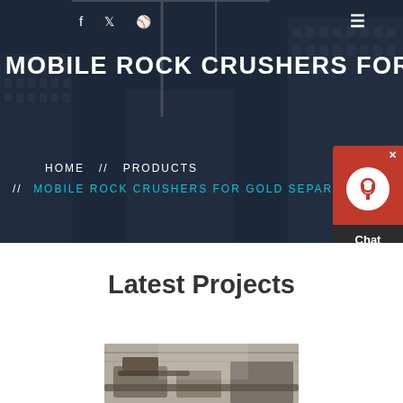[Figure (photo): Hero background: construction site with cranes and high-rise buildings under dark blue overlay]
f  🐦  ⊕   ≡
MOBILE ROCK CRUSHERS FOR G
HOME  //  PRODUCTS  //  MOBILE ROCK CRUSHERS FOR GOLD SEPARATI
[Figure (illustration): Chat widget with red top panel showing headset icon and close button, dark bottom panel with 'Chat Now' text]
Latest Projects
[Figure (photo): Industrial rock crushing equipment in a factory/warehouse setting, partially visible at bottom of page]